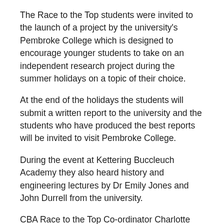The Race to the Top students were invited to the launch of a project by the university's Pembroke College which is designed to encourage younger students to take on an independent research project during the summer holidays on a topic of their choice.
At the end of the holidays the students will submit a written report to the university and the students who have produced the best reports will be invited to visit Pembroke College.
During the event at Kettering Buccleuch Academy they also heard history and engineering lectures by Dr Emily Jones and John Durrell from the university.
CBA Race to the Top Co-ordinator Charlotte Knight said: “We encouraged our students to take part in this project because we think it will open their eyes to the world of Further Education and the most prestigious universities.
“It should also help them to develop their independent learning and research skills.